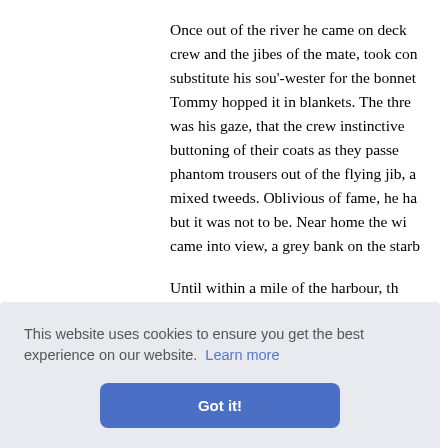Once out of the river he came on deck crew and the jibes of the mate, took con substitute his sou'-wester for the bonnet Tommy hopped it in blankets. The thre was his gaze, that the crew instinctive buttoning of their coats as they passe phantom trousers out of the flying jib, a mixed tweeds. Oblivious of fame, he ha but it was not to be. Near home the wi came into view, a grey bank on the starb
Until within a mile of the harbour, th relaxed somewhat, and he looked round
aking his
er. "Here,
This website uses cookies to ensure you get the best experience on our website. Learn more
Got it!